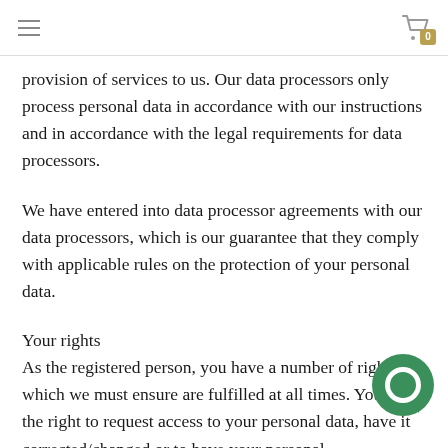≡  [cart icon] 0
provision of services to us. Our data processors only process personal data in accordance with our instructions and in accordance with the legal requirements for data processors.
We have entered into data processor agreements with our data processors, which is our guarantee that they comply with applicable rules on the protection of your personal data.
Your rights
As the registered person, you have a number of rights, which we must ensure are fulfilled at all times. You have the right to request access to your personal data, have it corrected/changed or to have your personal